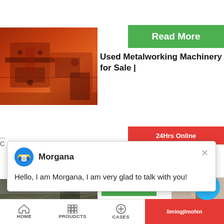[Figure (photo): Orange industrial metalworking machinery, close-up view]
[Figure (screenshot): Green 'Read More' button]
Used Metalworking Machinery for Sale |
[Figure (screenshot): Red '24Hrs Online' badge]
[Figure (screenshot): Chat popup with Morgana avatar, name 'Morgana', message: Hello, I am Morgana, I am very glad to talk with you!]
[Figure (photo): Quarry or mining site, bottom image]
[Figure (screenshot): Green 'Re...' (Read More) button, bottom]
poultry feed
[Figure (screenshot): Person on phone with chat widgets: notification badge '1', 'Need qu... & suggestion?', 'Chat Now' button, 'Enquiry', 'limingjlmofen']
HOME    PROUDCTS    CASES    limingjlmofen